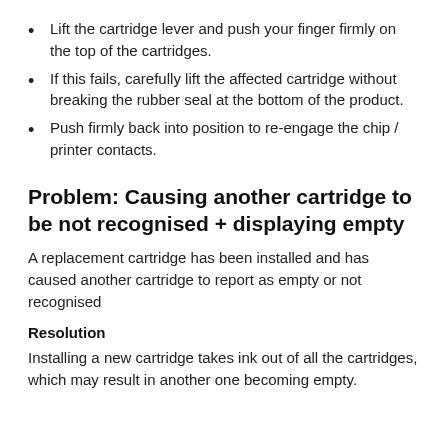Lift the cartridge lever and push your finger firmly on the top of the cartridges.
If this fails, carefully lift the affected cartridge without breaking the rubber seal at the bottom of the product.
Push firmly back into position to re-engage the chip / printer contacts.
Problem: Causing another cartridge to be not recognised + displaying empty
A replacement cartridge has been installed and has caused another cartridge to report as empty or not recognised
Resolution
Installing a new cartridge takes ink out of all the cartridges, which may result in another one becoming empty.